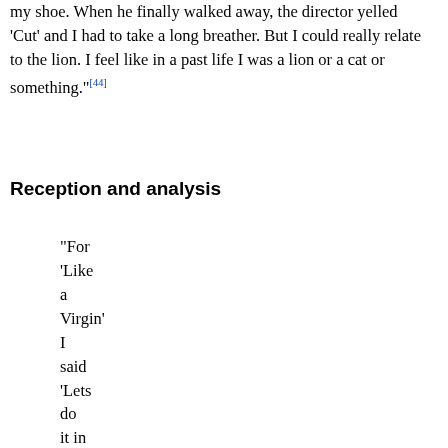my shoe. When he finally walked away, the director yelled 'Cut' and I had to take a long breather. But I could really relate to the lion. I feel like in a past life I was a lion or a cat or something."[44]
Reception and analysis
"For 'Like a Virgin' I said 'Lets do it in Venice!' The idea of Madonna singing in a gondola was